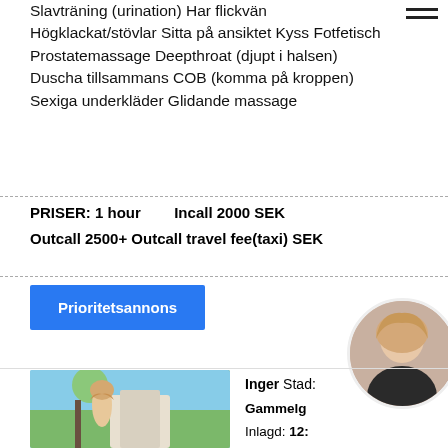Slavträning (urination) Har flickvän Högklackat/stövlar Sitta på ansiktet Kyss Fotfetisch Prostatemassage Deepthroat (djupt i halsen) Duscha tillsammans COB (komma på kroppen) Sexiga underkläder Glidande massage
PRISER: 1 hour   Incall 2000 SEK
Outcall 2500+ Outcall travel fee(taxi) SEK
Prioritetsannons
[Figure (photo): Photo of a young blonde woman standing outdoors with palm trees in the background]
Inger Stad: Gammelg... Inlagd: 12:... Profil: 46648... Verification: Unverified
[Figure (photo): Circular cropped photo of a blonde woman in a dark outfit]